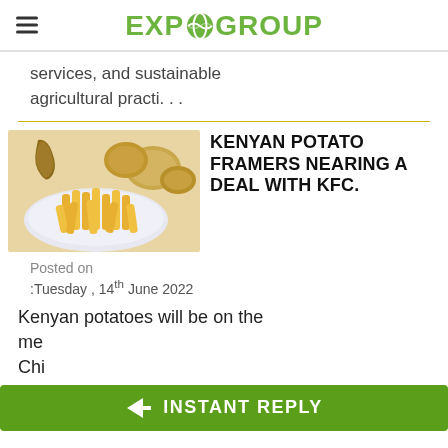EXPOGROUP
services, and sustainable agricultural practi…
[Figure (photo): A plate of french fries with potatoes in the background on a wooden table]
KENYAN POTATO FRAMERS NEARING A DEAL WITH KFC.
Posted on
:Tuesday , 14th June 2022
Kenyan potatoes will be on the me… Chi…
INSTANT REPLY